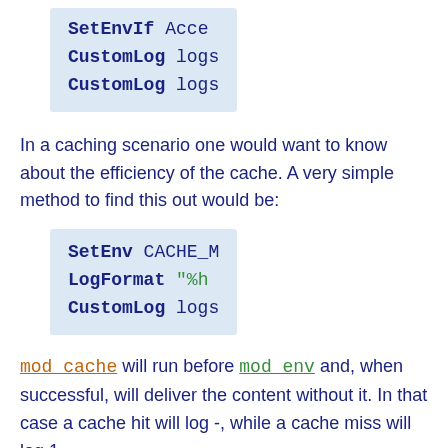[Figure (screenshot): Code block showing SetEnvIf, CustomLog, CustomLog directives in blue monospace on light blue background (top, partially visible)]
In a caching scenario one would want to know about the efficiency of the cache. A very simple method to find this out would be:
[Figure (screenshot): Code block showing: SetEnv CACHE_MISS 1, LogFormat "%h ..., CustomLog logs/... directives in monospace on light blue background]
mod_cache will run before mod_env and, when successful, will deliver the content without it. In that case a cache hit will log -, while a cache miss will log 1.
In addition to the env= syntax, LogFormat